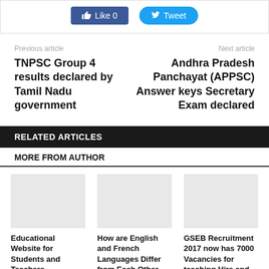[Figure (screenshot): Social media buttons: Like 0 (Facebook) and Tweet (Twitter)]
Previous article
Next article
TNPSC Group 4 results declared by Tamil Nadu government
Andhra Pradesh Panchayat (APPSC) Answer keys Secretary Exam declared
RELATED ARTICLES
MORE FROM AUTHOR
Educational Website for Students and Teachers
How are English and French Languages Differ from Each Other Some
GSEB Recruitment 2017 now has 7000 Vacancies for teaching Hire and